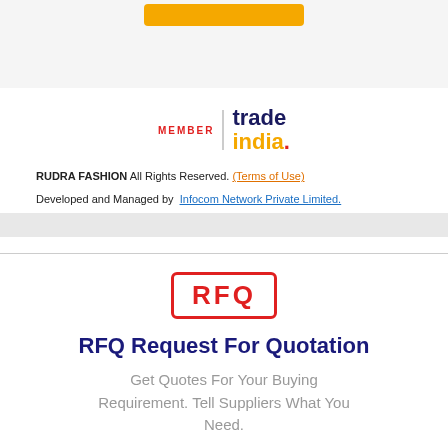[Figure (logo): TradeIndia member logo with red MEMBER text, vertical divider, and tradeindia. wordmark in blue and orange]
RUDRA FASHION All Rights Reserved. (Terms of Use)
Developed and Managed by  Infocom Network Private Limited.
[Figure (logo): RFQ stamp logo — red bordered rectangle with bold red RFQ text]
RFQ Request For Quotation
Get Quotes For Your Buying Requirement. Tell Suppliers What You Need.